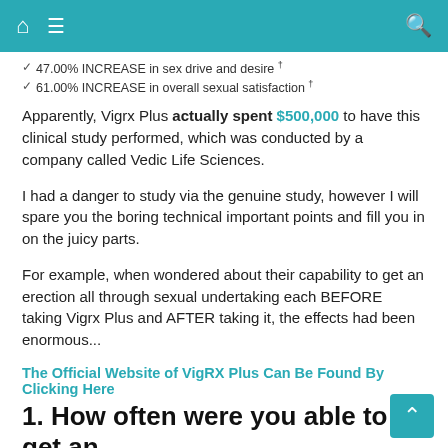Navigation bar with home, menu, and search icons
47.00% INCREASE in sex drive and desire †
61.00% INCREASE in overall sexual satisfaction †
Apparently, Vigrx Plus actually spent $500,000 to have this clinical study performed, which was conducted by a company called Vedic Life Sciences.
I had a danger to study via the genuine study, however I will spare you the boring technical important points and fill you in on the juicy parts.
For example, when wondered about their capability to get an erection all through sexual undertaking each BEFORE taking Vigrx Plus and AFTER taking it, the effects had been enormous...
The Official Website of VigRX Plus Can Be Found By Clicking Here
1. How often were you able to get an erection before Vigrx Plus and After